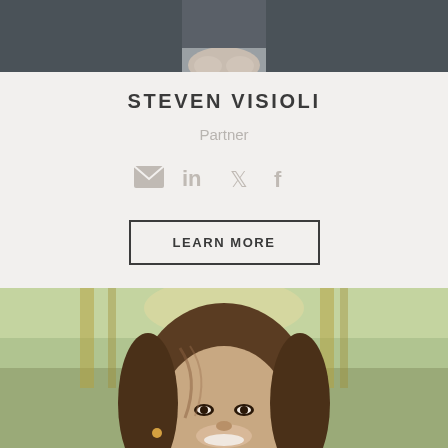[Figure (photo): Top portion of a person sitting, hands visible, dark clothing, cropped at top of page]
STEVEN VISIOLI
Partner
[Figure (infographic): Social media icons: email (envelope), LinkedIn, Twitter, Facebook, shown in light gray]
LEARN MORE
[Figure (photo): Bottom portion of page showing a smiling woman with long brown hair, blurred outdoor background with green foliage and architectural elements]